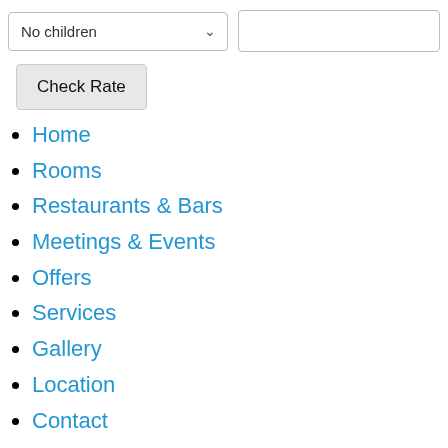[Figure (screenshot): Dropdown selector showing 'No children' with a chevron, and an empty text input field to the right]
Check Rate
Home
Rooms
Restaurants & Bars
Meetings & Events
Offers
Services
Gallery
Location
Contact
[Figure (photo): Broken image placeholder labeled 'Rembrandt Hotel Bangkok']
Rembrandt Hotel BangkokDiscover your new